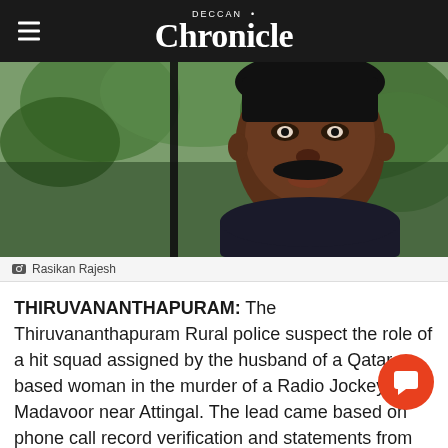DECCAN Chronicle
[Figure (photo): Close-up photo of Rasikan Rajesh, a man with a mustache wearing a dark shirt, with green trees in the background]
Rasikan Rajesh
THIRUVANANTHAPURAM: The Thiruvananthapuram Rural police suspect the role of a hit squad assigned by the husband of a Qatar-based woman in the murder of a Radio Jockey at Madavoor near Attingal. The lead came based on phone call record verification and statements from the friends of the deceased. The radio jockey R, 36, alias Rasikan Rajesh was hacked to death gang of four who came in a hatchback early on Tuesday.